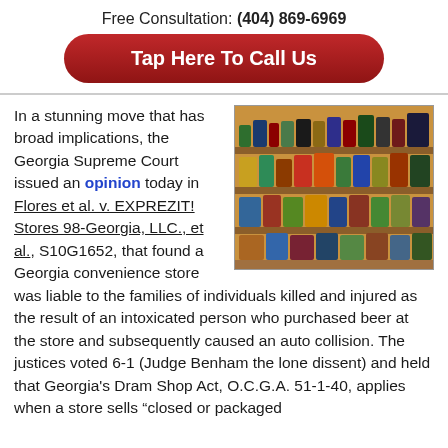Free Consultation: (404) 869-6969
Tap Here To Call Us
[Figure (photo): Shelves of a convenience store stocked with beer cans and bottles]
In a stunning move that has broad implications, the Georgia Supreme Court issued an opinion today in Flores et al. v. EXPREZIT! Stores 98-Georgia, LLC., et al., S10G1652, that found a Georgia convenience store was liable to the families of individuals killed and injured as the result of an intoxicated person who purchased beer at the store and subsequently caused an auto collision. The justices voted 6-1 (Judge Benham the lone dissent) and held that Georgia's Dram Shop Act, O.C.G.A. 51-1-40, applies when a store sells “closed or packaged